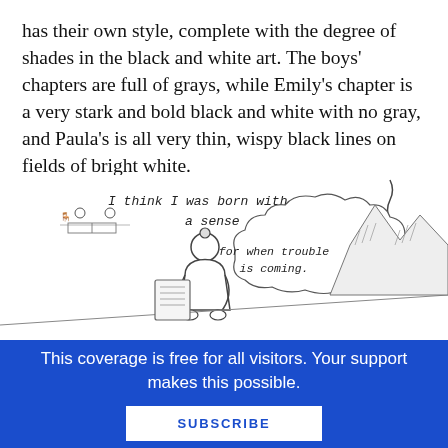has their own style, complete with the degree of shades in the black and white art. The boys' chapters are full of grays, while Emily's chapter is a very stark and bold black and white with no gray, and Paula's is all very thin, wispy black lines on fields of bright white.
[Figure (illustration): A comic panel illustration showing a person with a thought bubble. The handwritten text reads 'I think I was born with a sense' at top and 'for when trouble is coming.' in the cloud speech bubble. There is also a small scene with people at a table in the upper left of the illustration.]
This coverage is free for all visitors. Your support makes this possible.
SUBSCRIBE